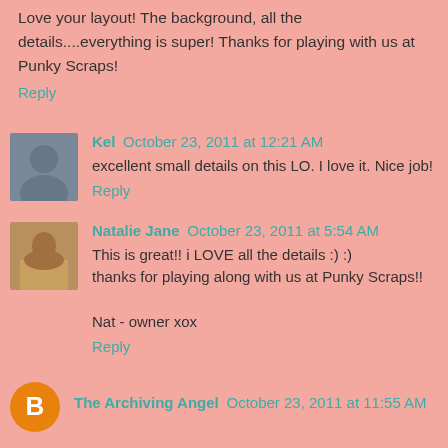Love your layout! The background, all the details....everything is super! Thanks for playing with us at Punky Scraps!
Reply
Kel October 23, 2011 at 12:21 AM
excellent small details on this LO. I love it. Nice job!
Reply
Natalie Jane October 23, 2011 at 5:54 AM
This is great!! i LOVE all the details :) :)
thanks for playing along with us at Punky Scraps!!

Nat - owner xox
Reply
The Archiving Angel October 23, 2011 at 11:55 AM